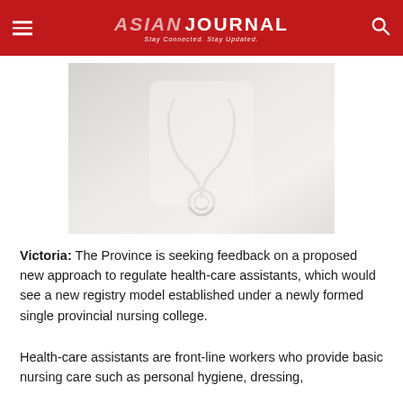ASIAN JOURNAL — Stay Connected. Stay Updated.
[Figure (photo): Photo of a healthcare professional holding a stethoscope, wearing white coat, muted/faded tones]
Victoria: The Province is seeking feedback on a proposed new approach to regulate health-care assistants, which would see a new registry model established under a newly formed single provincial nursing college.
Health-care assistants are front-line workers who provide basic nursing care such as personal hygiene, dressing,